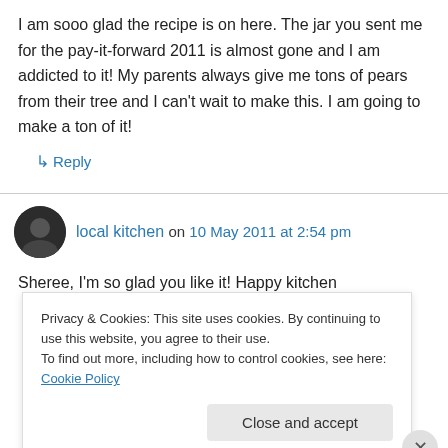I am sooo glad the recipe is on here. The jar you sent me for the pay-it-forward 2011 is almost gone and I am addicted to it! My parents always give me tons of pears from their tree and I can't wait to make this. I am going to make a ton of it!
↳ Reply
local kitchen on 10 May 2011 at 2:54 pm
Sheree, I'm so glad you like it! Happy kitchen
Privacy & Cookies: This site uses cookies. By continuing to use this website, you agree to their use. To find out more, including how to control cookies, see here: Cookie Policy
Close and accept